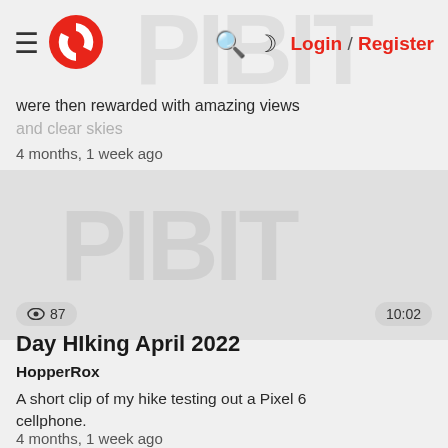Login / Register
were then rewarded with amazing views and clear skies
4 months, 1 week ago
[Figure (screenshot): Video thumbnail placeholder area, gray background]
👁 87   10:02
Day HIking April 2022
HopperRox
A short clip of my hike testing out a Pixel 6 cellphone.
4 months, 1 week ago